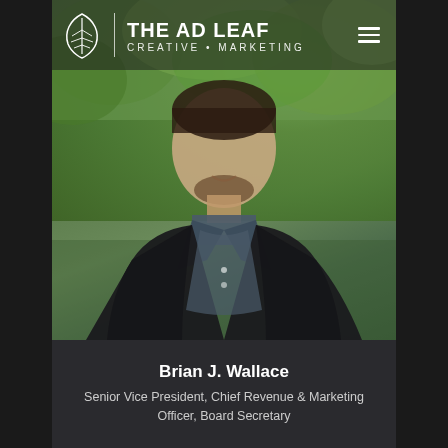[Figure (logo): The Ad Leaf Creative Marketing logo with leaf icon and name]
[Figure (photo): Professional headshot of Brian J. Wallace, a man in a black blazer and dark button-up shirt, smiling, with green foliage in the background]
Brian J. Wallace
Senior Vice President, Chief Revenue & Marketing Officer, Board Secretary